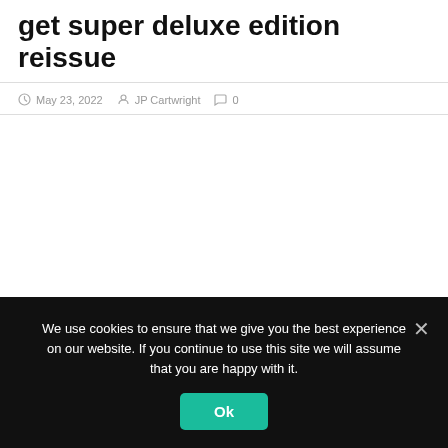get super deluxe edition reissue
May 23, 2022   JP Cartwright   0
We use cookies to ensure that we give you the best experience on our website. If you continue to use this site we will assume that you are happy with it.